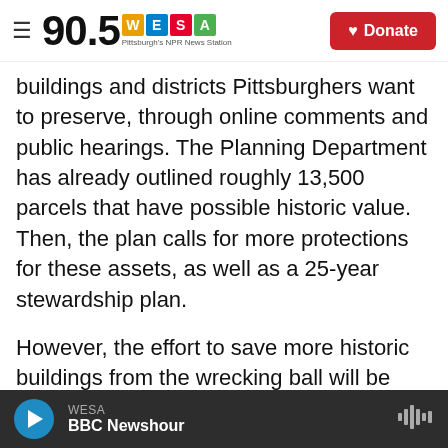90.5 WESA – Pittsburgh's NPR News Station | Donate
buildings and districts Pittsburghers want to preserve, through online comments and public hearings. The Planning Department has already outlined roughly 13,500 parcels that have possible historic value. Then, the plan calls for more protections for these assets, as well as a 25-year stewardship plan.
However, the effort to save more historic buildings from the wrecking ball will be costly, and Ismail said private money and nonprofit grants will be necessary in addition to dedicated funding in the city budget. She said a citywide preservation fund
WESA – BBC Newshour